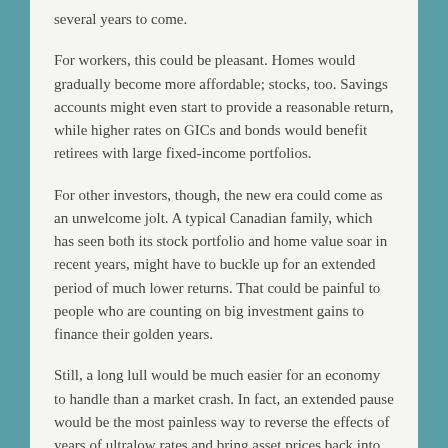several years to come.
For workers, this could be pleasant. Homes would gradually become more affordable; stocks, too. Savings accounts might even start to provide a reasonable return, while higher rates on GICs and bonds would benefit retirees with large fixed-income portfolios.
For other investors, though, the new era could come as an unwelcome jolt. A typical Canadian family, which has seen both its stock portfolio and home value soar in recent years, might have to buckle up for an extended period of much lower returns. That could be painful to people who are counting on big investment gains to finance their golden years.
Still, a long lull would be much easier for an economy to handle than a market crash. In fact, an extended pause would be the most painless way to reverse the effects of years of ultralow rates and bring asset prices back into line.
Consider real estate. Based upon the historical relationship